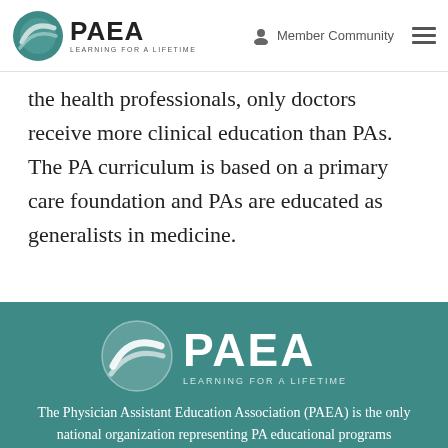[Figure (logo): PAEA logo with teal circle/wave icon and text 'PAEA LEARNING FOR A LIFETIME', plus Member Community icon and hamburger menu in header]
the health professionals, only doctors receive more clinical education than PAs. The PA curriculum is based on a primary care foundation and PAs are educated as generalists in medicine.
[Figure (logo): PAEA logo on teal background with circle/wave icon, large white 'PAEA' text, and 'LEARNING FOR A LIFETIME' tagline]
The Physician Assistant Education Association (PAEA) is the only national organization representing PA educational programs